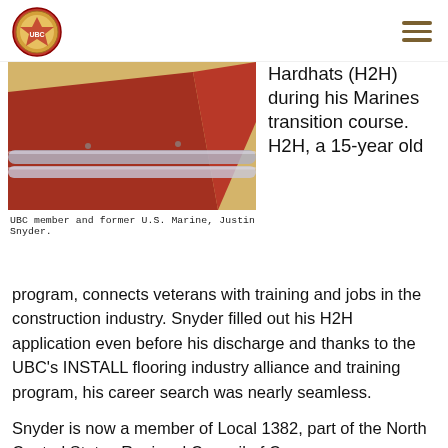UBC logo and navigation menu
[Figure (photo): Close-up photo of flooring installation materials including red sheet material and metal pipes/rollers on a yellow surface]
UBC member and former U.S. Marine, Justin Snyder.
Hardhats (H2H) during his Marines transition course. H2H, a 15-year old program, connects veterans with training and jobs in the construction industry. Snyder filled out his H2H application even before his discharge and thanks to the UBC's INSTALL flooring industry alliance and training program, his career search was nearly seamless.
Snyder is now a member of Local 1382, part of the North Central States Regional Council of Carpenters.